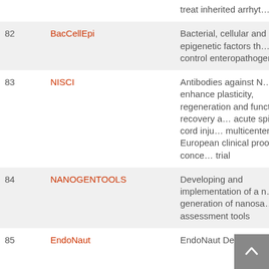| # | Project | Description |
| --- | --- | --- |
|  |  | treat inherited arrhyt… |
| 82 | BacCellEpi | Bacterial, cellular and epigenetic factors th… control enteropathogenicity |
| 83 | NISCI | Antibodies against N… to enhance plasticity, regeneration and functional recovery a… acute spinal cord inju… multicenter European clinical proof of conce… trial |
| 84 | NANOGENTOOLS | Developing and implementation of a n… generation of nanosa… assessment tools |
| 85 | EndoNaut | EndoNaut Delivery… |